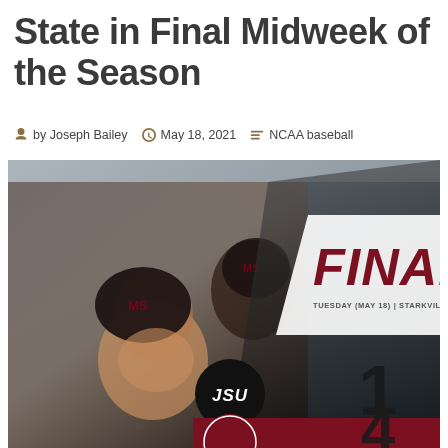State in Final Midweek of the Season
by Joseph Bailey   May 18, 2021   NCAA baseball
[Figure (photo): Baseball game final score graphic: JSU 1 vs Mississippi State (score partially shown). Photo shows a smiling Mississippi State baseball player in maroon helmet and uniform. Text overlay says FINAL, TUESDAY (MAY 18) | STARKVILLE, MS. JSU circle logo and score 1 visible, MSU score bar at bottom.]